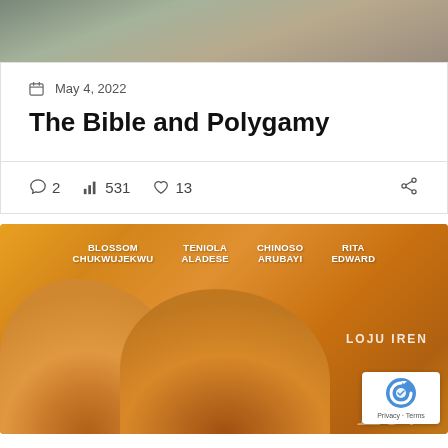[Figure (photo): Top portion of a background photo visible at the top of the page]
May 4, 2022
The Bible and Polygamy
2 comments, 531 views, 13 likes, share
[Figure (photo): Movie poster with orange/yellow tint showing cast members Blossom Chukwujekwu, Teniola Aladese, Chinoso Arubayi, Rita Edward. Text reads 'LOJU IREN' and cursive 'Love' at bottom.]